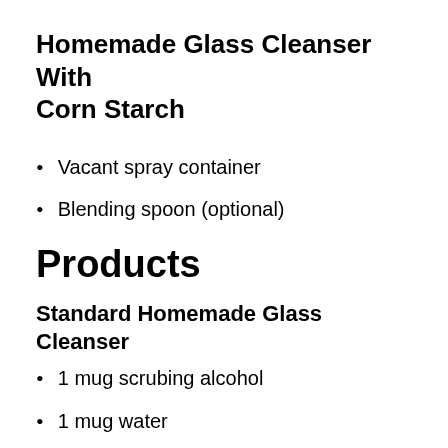Homemade Glass Cleanser With Corn Starch
Vacant spray container
Blending spoon (optional)
Products
Standard Homemade Glass Cleanser
1 mug scrubing alcohol
1 mug water